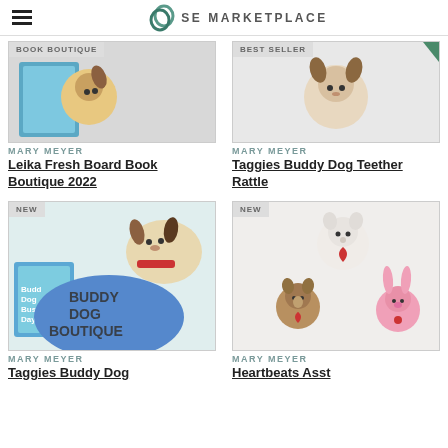SE MARKETPLACE
[Figure (photo): Partial product image with BOOK BOUTIQUE badge]
MARY MEYER
Leika Fresh Board Book Boutique 2022
[Figure (photo): Product image with BEST SELLER badge]
MARY MEYER
Taggies Buddy Dog Teether Rattle
[Figure (photo): Buddy Dog Boutique product image with NEW badge showing plush dog toy, book, and blanket]
MARY MEYER
Taggies Buddy Dog
[Figure (photo): Heartbeats Asst product image with NEW badge showing bear, monkey and bunny plush toys]
MARY MEYER
Heartbeats Asst